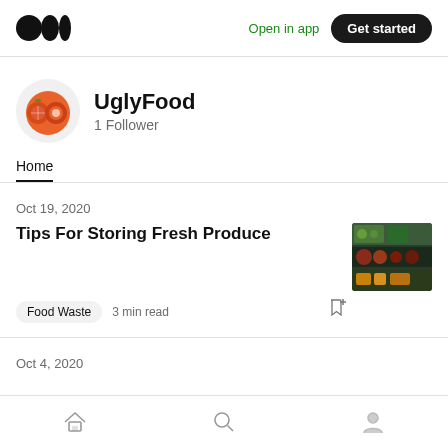Medium logo | Open in app | Get started
UglyFood
1 Follower
Home
Oct 19, 2020
Tips For Storing Fresh Produce
[Figure (photo): Refrigerator shelf with fresh produce including vegetables and fruits]
Food Waste   3 min read
Oct 4, 2020